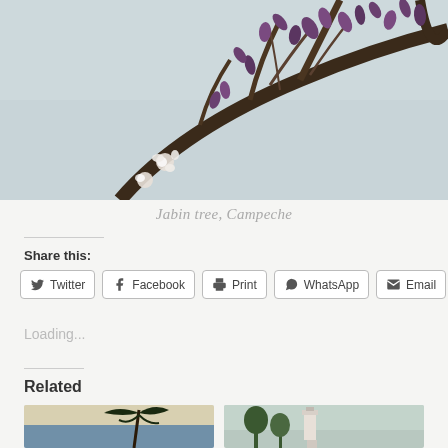[Figure (photo): Close-up photo of Jabin tree branches with purple flower buds and white blossoms against a pale sky, Campeche]
Jabin tree, Campeche
Share this:
[Figure (screenshot): Row of share buttons: Twitter, Facebook, Print, WhatsApp, Email]
Loading...
Related
[Figure (photo): Beach scene with a tall palm tree silhouette against a sunset sky]
[Figure (photo): Coastal scene with a lighthouse visible among green trees under a cloudy sky]